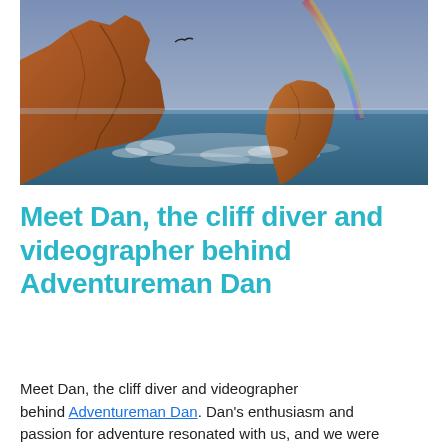[Figure (photo): Coastal scene with large red-brown rock formations and sea cliffs, choppy ocean waves, a rainbow arching in the cloudy sky on the right, and a bird in flight on the upper left]
Meet Dan, the cliff diver and videographer behind Adventureman Dan
Meet Dan, the cliff diver and videographer behind Adventureman Dan. Dan's enthusiasm and passion for adventure resonated with us, and we were